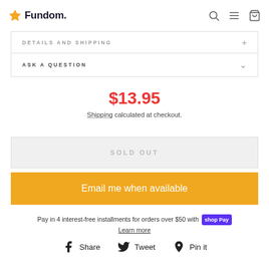Fundom
DETAILS AND SHIPPING
ASK A QUESTION
$13.95
Shipping calculated at checkout.
SOLD OUT
Email me when available
Pay in 4 interest-free installments for orders over $50 with shop Pay
Learn more
Share  Tweet  Pin it